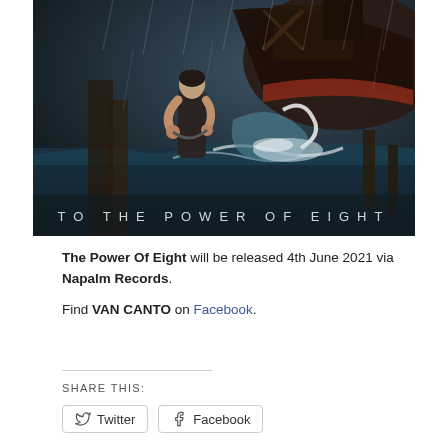[Figure (illustration): Album cover art for 'To The Power Of Eight' by Van Canto. Dark, stormy scene showing a woman standing in front of a large sinking or storm-battered ship at sea, with rain and large waves. Text 'TO THE POWER OF EIGHT' appears at the bottom of the image in spaced white letters.]
The Power Of Eight will be released 4th June 2021 via Napalm Records.
Find VAN CANTO on Facebook.
SHARE THIS:
Twitter  Facebook